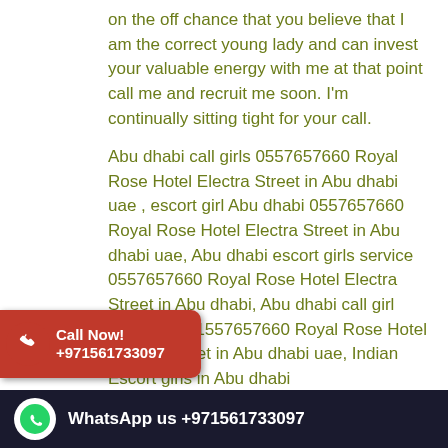on the off chance that you believe that I am the correct young lady and can invest your valuable energy with me at that point call me and recruit me soon. I'm continually sitting tight for your call.
Abu dhabi call girls 0557657660 Royal Rose Hotel Electra Street in Abu dhabi uae , escort girl Abu dhabi 0557657660 Royal Rose Hotel Electra Street in Abu dhabi uae, Abu dhabi escort girls service 0557657660 Royal Rose Hotel Electra Street in Abu dhabi, Abu dhabi call girl service +971557657660 Royal Rose Hotel Electra Street in Abu dhabi uae, Indian Escort girls in Abu dhabi 0557657660 Royal Rose Hotel Electra Street in Abu dhabi, Indian call girls in Abu dhabi Royal Rose Hotel Electra Street in Abu dhabi uae , Abu dhabi Escort girls Agency 0557657660 Royal Rose Hotel Electra Street in Abu dhabi uae 0557657660 Royal Rose Hotel Electra Street in
[Figure (other): Red pill-shaped Call Now badge with phone icon and text: Call Now! +971561733097]
WhatsApp us +971561733097